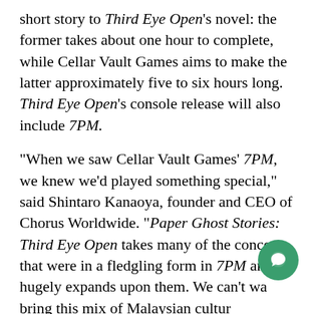short story to Third Eye Open's novel: the former takes about one hour to complete, while Cellar Vault Games aims to make the latter approximately five to six hours long. Third Eye Open's console release will also include 7PM.
“When we saw Cellar Vault Games’ 7PM, we knew we’d played something special,” said Shintaro Kanaoya, founder and CEO of Chorus Worldwide. “Paper Ghost Stories: Third Eye Open takes many of the concepts that were in a fledgling form in 7PM and hugely expands upon them. We can’t wait to bring this mix of Malaysian culture, coming-of-age drama, and spine-
[Figure (other): Green circular chat button with speech bubble icon]